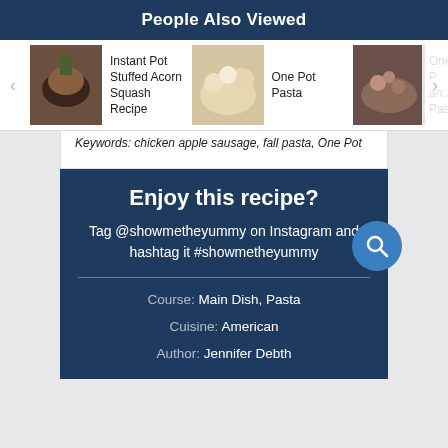People Also Viewed
[Figure (screenshot): Carousel of recipe thumbnails with titles: Instant Pot Stuffed Acorn Squash Recipe, One Pot Pasta, One P... and Pasta (truncated)]
Keywords: chicken apple sausage, fall pasta, One Pot
Enjoy this recipe?
Tag @showmetheyummy on Instagram and hashtag it #showmetheyummy
Course: Main Dish, Pasta
Cuisine: American
Author: Jennifer Debth